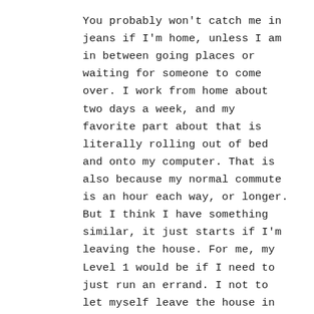You probably won't catch me in jeans if I'm home, unless I am in between going places or waiting for someone to come over. I work from home about two days a week, and my favorite part about that is literally rolling out of bed and onto my computer. That is also because my normal commute is an hour each way, or longer. But I think I have something similar, it just starts if I'm leaving the house. For me, my Level 1 would be if I need to just run an errand. I not to let myself leave the house in sweats unless I have the flu, and gym clothes are for the gym. Sometimes I go to work at the coffee shop or have something bigger than the grocery store planned, and then might reach my level two – meaning better shoes and mascara. I do think for those that are at home every day, it is probably mentally beneficial to change out of your PJs at some point in the day. When I work from home and literally stay in my pajamas unshowered